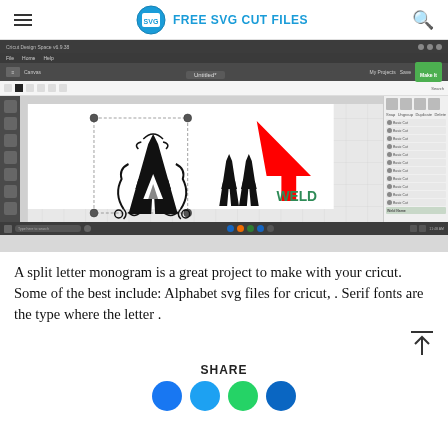FREE SVG CUT FILES
[Figure (screenshot): Screenshot of Cricut Design Space software showing a decorative letter A monogram SVG being edited, with a red arrow pointing to a WELD button in the layers panel]
A split letter monogram is a great project to make with your cricut. Some of the best include: Alphabet svg files for cricut, . Serif fonts are the type where the letter .
SHARE